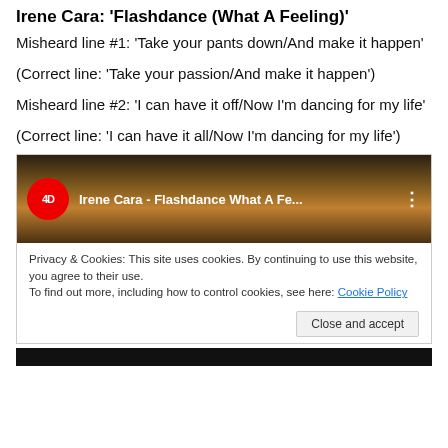Irene Cara: 'Flashdance (What A Feeling)'
Misheard line #1: ‘Take your pants down/And make it happen’
(Correct line: ‘Take your passion/And make it happen’)
Misheard line #2: ‘I can have it off/Now I’m dancing for my life’
(Correct line: ‘I can have it all/Now I’m dancing for my life’)
[Figure (screenshot): Embedded YouTube video thumbnail for 'Irene Cara - Flashdance What A Fe...' with a red circular channel logo showing '4D', dark landscape background, and three-dot menu icon.]
Privacy & Cookies: This site uses cookies. By continuing to use this website, you agree to their use.
To find out more, including how to control cookies, see here: Cookie Policy
Close and accept